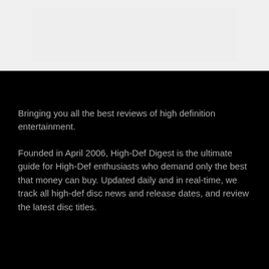[Figure (other): Light gray rectangular image placeholder at top of page]
Bringing you all the best reviews of high definition entertainment.
Founded in April 2006, High-Def Digest is the ultimate guide for High-Def enthusiasts who demand only the best that money can buy. Updated daily and in real-time, we track all high-def disc news and release dates, and review the latest disc titles.